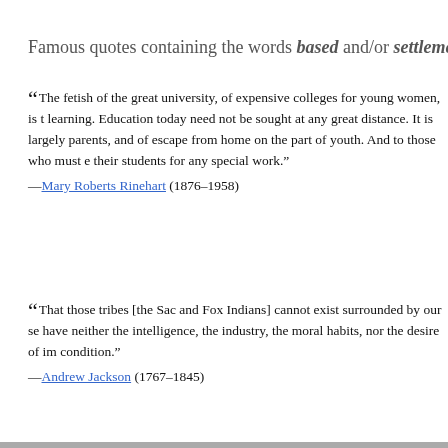Famous quotes containing the words based and/or settleme
“The fetish of the great university, of expensive colleges for young women, is t learning. Education today need not be sought at any great distance. It is largely parents, and of escape from home on the part of youth. And to those who must e their students for any special work.” —Mary Roberts Rinehart (1876–1958)
“That those tribes [the Sac and Fox Indians] cannot exist surrounded by our se have neither the intelligence, the industry, the moral habits, nor the desire of im condition.” —Andrew Jackson (1767–1845)